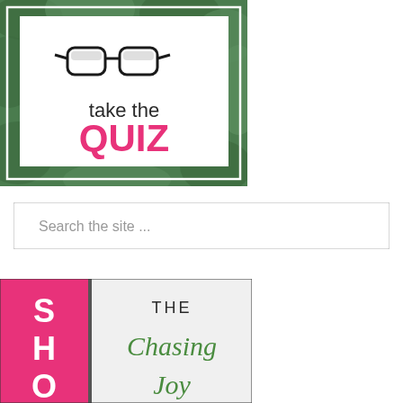[Figure (illustration): Take the Quiz banner image with green leafy background, white inner box with eyeglasses icon, text 'take the' in dark color and 'QUIZ' in bold pink/hot pink letters]
[Figure (screenshot): Search bar with placeholder text 'Search the site ...' with light gray border]
[Figure (illustration): Show/book promotion banner with hot pink left panel showing letters 'S H O' in white, and right panel on light gray background showing 'THE' in dark text and 'Chasing Joy' in green script font]